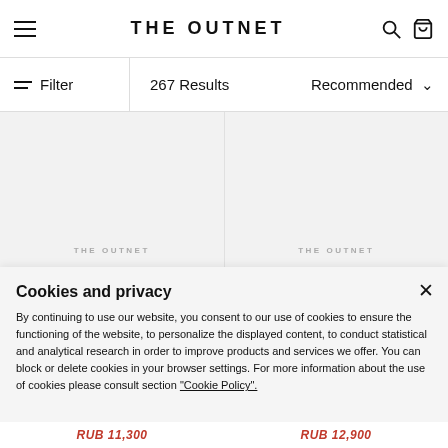THE OUTNET
Filter   267 Results   Recommended
[Figure (screenshot): Two product cards with 'THE OUTNET' watermark text]
Cookies and privacy
By continuing to use our website, you consent to our use of cookies to ensure the functioning of the website, to personalize the displayed content, to conduct statistical and analytical research in order to improve products and services we offer. You can block or delete cookies in your browser settings. For more information about the use of cookies please consult section "Cookie Policy".
RUB 11,300   RUB 12,900